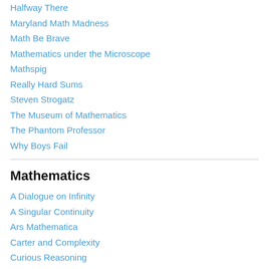Halfway There
Maryland Math Madness
Math Be Brave
Mathematics under the Microscope
Mathspig
Really Hard Sums
Steven Strogatz
The Museum of Mathematics
The Phantom Professor
Why Boys Fail
Mathematics
A Dialogue on Infinity
A Singular Continuity
Ars Mathematica
Carter and Complexity
Curious Reasoning
Fightin' the resistance of matter
God Plays Dice